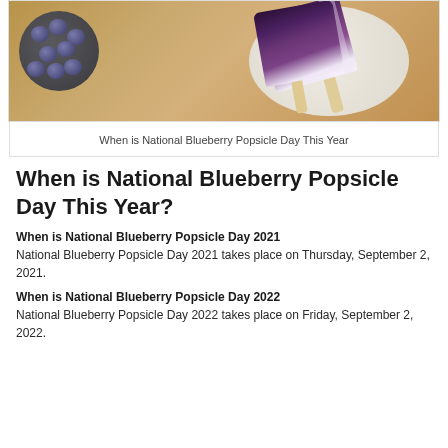[Figure (photo): Photo of blueberry popsicles on a plate with a bowl of blueberries, viewed from above on a wooden surface]
When is National Blueberry Popsicle Day This Year
When is National Blueberry Popsicle Day This Year?
When is National Blueberry Popsicle Day 2021
National Blueberry Popsicle Day 2021 takes place on Thursday, September 2, 2021.
When is National Blueberry Popsicle Day 2022
National Blueberry Popsicle Day 2022 takes place on Friday, September 2, 2022.